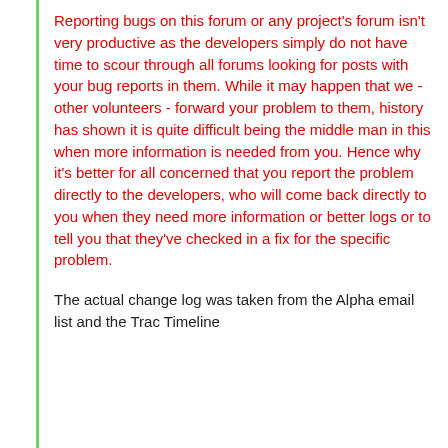Reporting bugs on this forum or any project's forum isn't very productive as the developers simply do not have time to scour through all forums looking for posts with your bug reports in them. While it may happen that we - other volunteers - forward your problem to them, history has shown it is quite difficult being the middle man in this when more information is needed from you. Hence why it's better for all concerned that you report the problem directly to the developers, who will come back directly to you when they need more information or better logs or to tell you that they've checked in a fix for the specific problem.
The actual change log was taken from the Alpha email list and the Trac Timeline